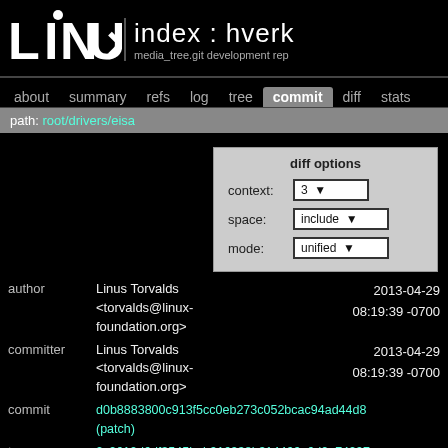index : hverk  media_tree.git development rep
about  summary  refs  log  tree  commit  diff  stats
path: root/drivers/eisa
diff options
context: 3
space: include
mode: unified
| field | value | date |
| --- | --- | --- |
| author | Linus Torvalds <torvalds@linux-foundation.org> | 2013-04-29 08:19:39 -0700 |
| committer | Linus Torvalds <torvalds@linux-foundation.org> | 2013-04-29 08:19:39 -0700 |
| commit | d0b8883800c913f5cc0eb273c052bcac94ad44d8 (patch) |  |
| tree | 2c9610d6df3545beb916238b314466e6d0e74297 /drivers/eisa |  |